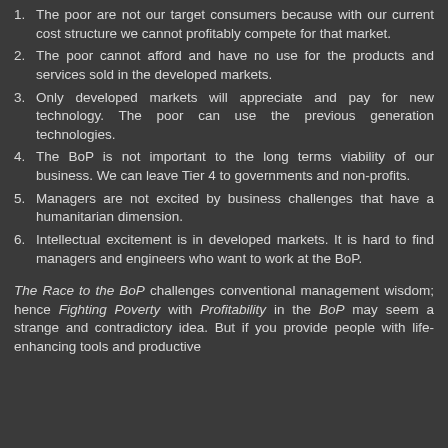1. The poor are not our target consumers because with our current cost structure we cannot profitably compete for that market.
2. The poor cannot afford and have no use for the products and services sold in the developed markets.
3. Only developed markets will appreciate and pay for new technology. The poor can use the previous generation technologies.
4. The BoP is not important to the long terms viability of our business. We can leave Tier 4 to governments and non-profits.
5. Managers are not excited by business challenges that have a humanitarian dimension.
6. Intellectual excitement is in developed markets. It is hard to find managers and engineers who want to work at the BoP.
The Race to the BoP challenges conventional management wisdom; hence Fighting Poverty with Profitability in the BoP may seem a strange and contradictory idea. But if you provide people with life-enhancing tools and productive